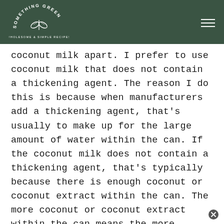[Figure (logo): Something Green logo with leaf/plant icon and arc text reading SOMETHING GREEN, WHOLESOME & SIMPLE RECIPES on dark green background with hamburger menu icon]
coconut milk apart. I prefer to use coconut milk that does not contain a thickening agent. The reason I do this is because when manufacturers add a thickening agent, that’s usually to make up for the large amount of water within the can. If the coconut milk does not contain a thickening agent, that’s typically because there is enough coconut or coconut extract within the can. The more coconut or coconut extract within the can means the more natural coconut fat will be in the can and it’s less likely to need a thickening agent.